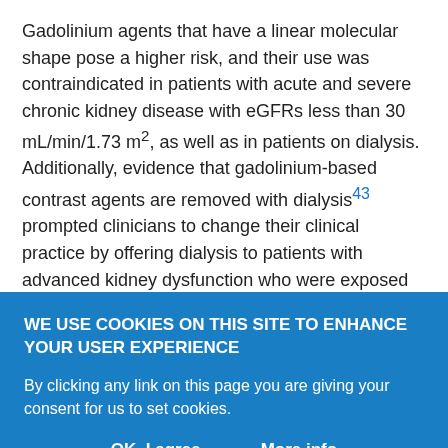Gadolinium agents that have a linear molecular shape pose a higher risk, and their use was contraindicated in patients with acute and severe chronic kidney disease with eGFRs less than 30 mL/min/1.73 m2, as well as in patients on dialysis. Additionally, evidence that gadolinium-based contrast agents are removed with dialysis43 prompted clinicians to change their clinical practice by offering dialysis to patients with advanced kidney dysfunction who were exposed to these agents.
As a result of those measures, the number of cases of NSF was drastically reduced. The last reported case in the United States dates
WE USE COOKIES ON THIS SITE TO ENHANCE YOUR USER EXPERIENCE
By clicking any link on this page you are giving your consent for us to set cookies.